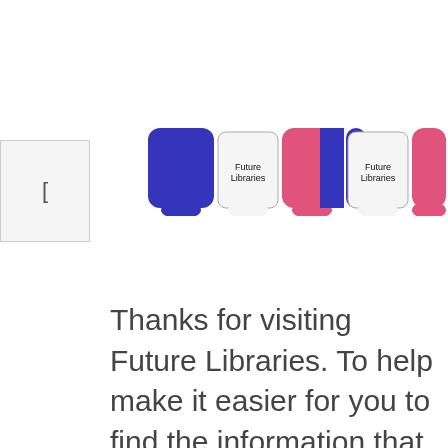[Figure (screenshot): Navigation bar with colored tab buttons (blue and pink/red) for a website called Future Libraries. Tabs have rounded tops and appear as browser-style navigation tabs.]
Thanks for visiting Future Libraries. To help make it easier for you to find the information that you are looking for we have all of our Information, Articles,